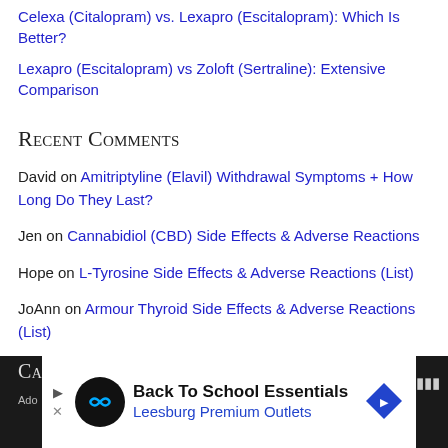Celexa (Citalopram) vs. Lexapro (Escitalopram): Which Is Better?
Lexapro (Escitalopram) vs Zoloft (Sertraline): Extensive Comparison
Recent Comments
David on Amitriptyline (Elavil) Withdrawal Symptoms + How Long Do They Last?
Jen on Cannabidiol (CBD) Side Effects & Adverse Reactions
Hope on L-Tyrosine Side Effects & Adverse Reactions (List)
JoAnn on Armour Thyroid Side Effects & Adverse Reactions (List)
Shevila on Remeron (Mirtazapine) Withdrawal Symptoms + How Long They Last
[Figure (screenshot): Advertisement banner: Back To School Essentials - Leesburg Premium Outlets with logo icons]